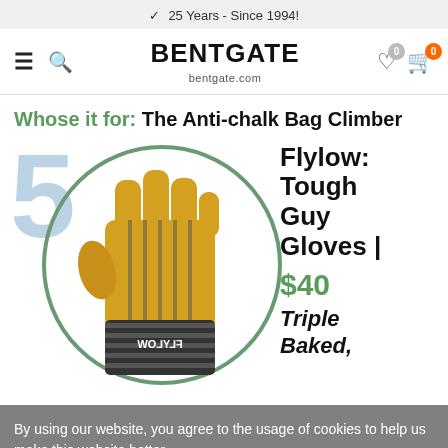25 Years - Since 1994!
[Figure (screenshot): Bentgate.com website navigation bar with hamburger menu, search icon, BENTGATE brand logo with bentgate.com URL, heart wishlist icon with badge 0, and cart icon with badge 0]
Whose it for: The Anti-chalk Bag Climber
[Figure (photo): Product listing showing number 5 in large blue font, a circular green-outlined badge containing a yellow leather Flylow branded work glove with striped cuff, with product text reading 'Flylow: Tough Guy Gloves | $40' and partially visible text 'Triple Baked,']
By using our website, you agree to the usage of cookies to help us make this website better.
Hide this message
More on cookies »